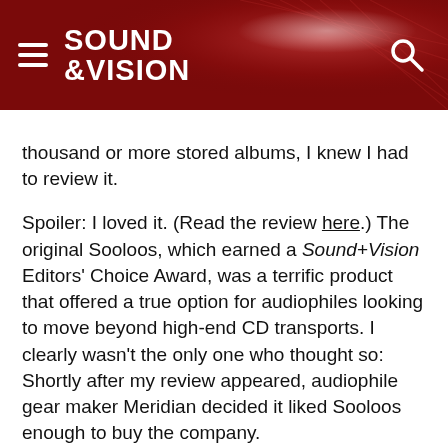SOUND &VISION
thousand or more stored albums, I knew I had to review it.
Spoiler: I loved it. (Read the review here.) The original Sooloos, which earned a Sound+Vision Editors' Choice Award, was a terrific product that offered a true option for audiophiles looking to move beyond high-end CD transports. I clearly wasn't the only one who thought so: Shortly after my review appeared, audiophile gear maker Meridian decided it liked Sooloos enough to buy the company.
When a small company is purchased by a larger, far more established entity, scary things can happen. Key people are often pushed out, good ideas get